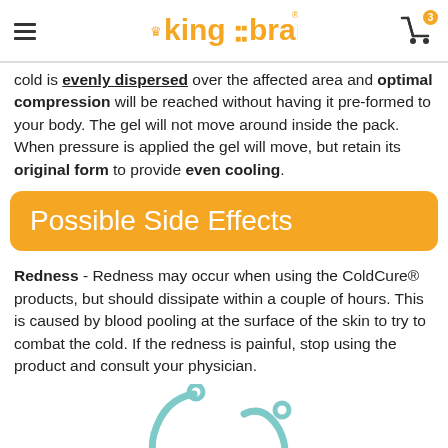king brand
cold is evenly dispersed over the affected area and optimal compression will be reached without having it pre-formed to your body. The gel will not move around inside the pack. When pressure is applied the gel will move, but retain its original form to provide even cooling.
Possible Side Effects
Redness - Redness may occur when using the ColdCure® products, but should dissipate within a couple of hours. This is caused by blood pooling at the surface of the skin to try to combat the cold. If the redness is painful, stop using the product and consult your physician.
[Figure (illustration): Partial illustration of a medical or product diagram showing curved shapes at bottom of page]